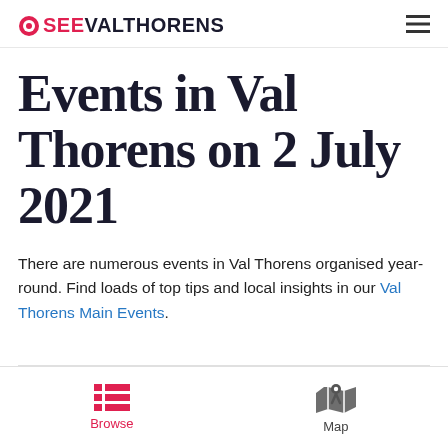SEEVALTHORENS
Events in Val Thorens on 2 July 2021
There are numerous events in Val Thorens organised year-round. Find loads of top tips and local insights in our Val Thorens Main Events.
Browse  Map